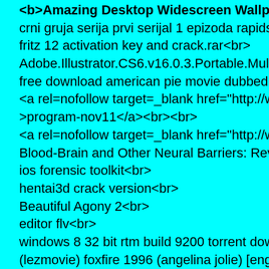<b>Amazing Desktop Widescreen Wallpaper FULL 20...
crni gruja serija prvi serijal 1 epizoda rapidshare<br>
fritz 12 activation key and crack.rar<br>
Adobe.Illustrator.CS6.v16.0.3.Portable.Multilingual-FG...
free download american pie movie dubbed in hindi.3gp...
<a rel=nofollow target=_blank href="http://www.voy.co...
>program-nov11</a><br><br>
<a rel=nofollow target=_blank href="http://www.voy.co...
Blood-Brain and Other Neural Barriers: Reviews and Pr...
ios forensic toolkit<br>
hentai3d crack version<br>
Beautiful Agony 2<br>
editor flv<br>
windows 8 32 bit rtm build 9200 torrent download<br>
(lezmovie) foxfire 1996 (angelina jolie) [eng].avi<br>
[non-latin text]<br>
No One Killed Jessica - 2011 - 720p DVDRip X264 Un...
{Team DUS}<br>
<b>[non-latin bold text]</b><br>
Farm heroes saga<br>
managerial accounting hilton 9th edition solution manu...
» punjabi beautiful girl sex with her roommate «.flv<br>
pes 2014 exe<br>
Red Giant Complete Plugins Suite For Adobe After Effe...
Treasure Island (2012) 720p BRRip x264 AC3-LEGiON...